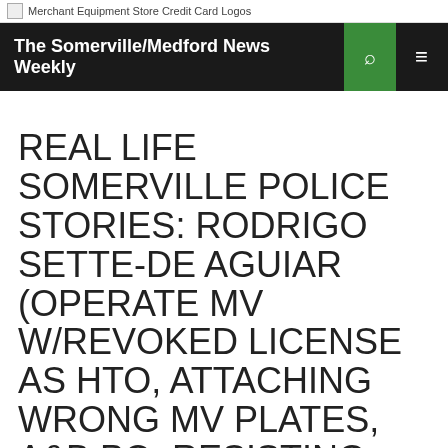Merchant Equipment Store Credit Card Logos
The Somerville/Medford News Weekly
REAL LIFE SOMERVILLE POLICE STORIES: RODRIGO SETTE-DE AGUIAR (OPERATE MV W/REVOKED LICENSE AS HTO, ATTACHING WRONG MV PLATES, A&B PO, RESISTING ARREST...)
AUGUST 13, 2018  THESOMERVILLENEWSWEEKLY  LEAVE A COMMENT